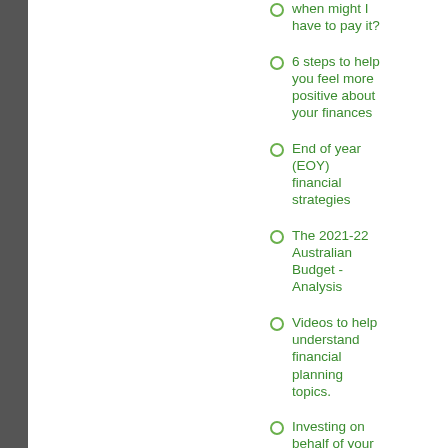when might I have to pay it?
6 steps to help you feel more positive about your finances
End of year (EOY) financial strategies
The 2021-22 Australian Budget - Analysis
Videos to help understand financial planning topics.
Investing on behalf of your kids
Super contribution caps are going